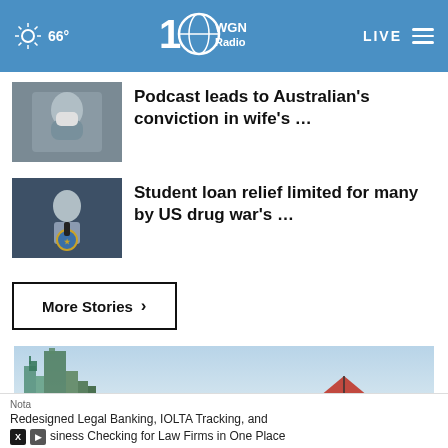66° WGN Radio 100 LIVE
[Figure (screenshot): Thumbnail photo of a masked person]
Podcast leads to Australian's conviction in wife's …
[Figure (screenshot): Thumbnail photo of Biden at podium with presidential seal]
Student loan relief limited for many by US drug war's …
More Stories ›
[Figure (logo): The Kite Team advertisement banner showing Chicago skyline and kite logo]
Nota
Redesigned Legal Banking, IOLTA Tracking, and siness Checking for Law Firms in One Place